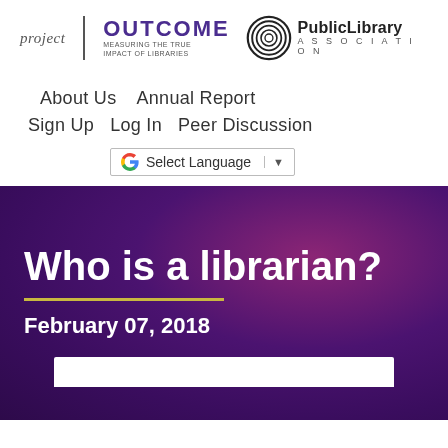[Figure (logo): Project Outcome logo with purple OUTCOME text and tagline 'Measuring the True Impact of Libraries', alongside Public Library Association logo with concentric circle icon]
About Us   Annual Report
Sign Up   Log In   Peer Discussion
G  Select Language  ▼
Who is a librarian?
February 07, 2018